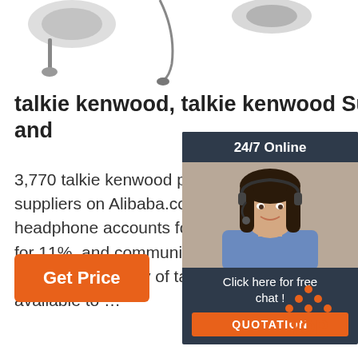[Figure (photo): Product photo of walkie talkie / headphone accessories at top of page]
talkie kenwood, talkie kenwood Suppliers and
3,770 talkie kenwood products are offered suppliers on Alibaba.com, of which earphone headphone accounts for 15%, walkie talkie for 11%, and communication antenna accounts for 2%. A wide variety of talkie kenwood options are available to …
[Figure (photo): Chat widget showing a woman with headset, 24/7 Online text, Click here for free chat, and QUOTATION button]
[Figure (other): Get Price orange button]
[Figure (other): TOP navigation button with orange dots icon]